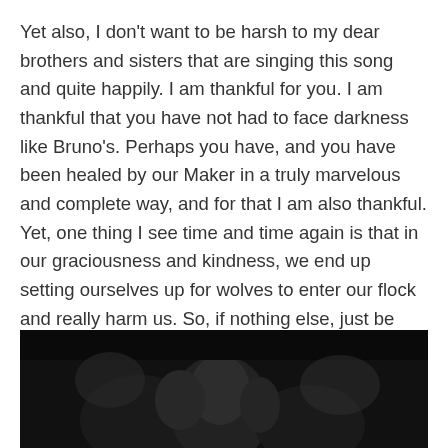Yet also, I don't want to be harsh to my dear brothers and sisters that are singing this song and quite happily. I am thankful for you. I am thankful that you have not had to face darkness like Bruno's. Perhaps you have, and you have been healed by our Maker in a truly marvelous and complete way, and for that I am also thankful. Yet, one thing I see time and time again is that in our graciousness and kindness, we end up setting ourselves up for wolves to enter our flock and really harm us. So, if nothing else, just be aware. There are ways in which we can predispose ourselves to be complicit in systems that obliterate Brunos.
[Figure (photo): A dark, black and white photograph showing silhouetted figures, barely visible against a very dark background.]